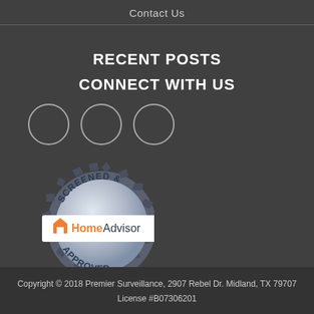Contact Us
RECENT POSTS
CONNECT WITH US
[Figure (illustration): Three empty circle icons (social media placeholders) in a row]
[Figure (logo): HomeAdvisor Screened & Approved badge/seal with gear-shaped border, silver metallic look, and HomeAdvisor logo in the center]
Copyright © 2018 Premier Surveillance, 2907 Rebel Dr. Midland, TX 79707
License #B07306201